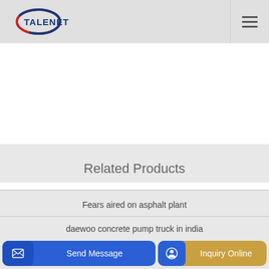TALENET
Related Products
Fears aired on asphalt plant
daewoo concrete pump truck in india
Send Message | Inquiry Online